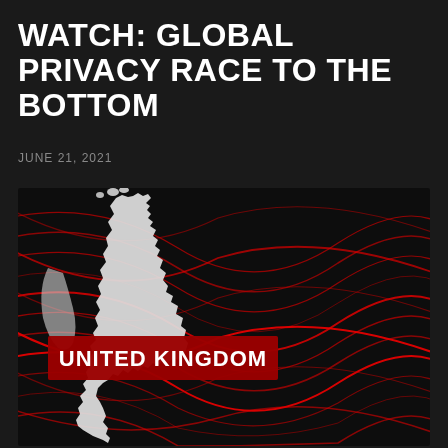WATCH: GLOBAL PRIVACY RACE TO THE BOTTOM
JUNE 21, 2021
[Figure (illustration): A dark background with glowing red wave-like network lines radiating outward, overlaid with a white silhouette map of the United Kingdom. A red banner with bold white text reads 'UNITED KINGDOM'.]